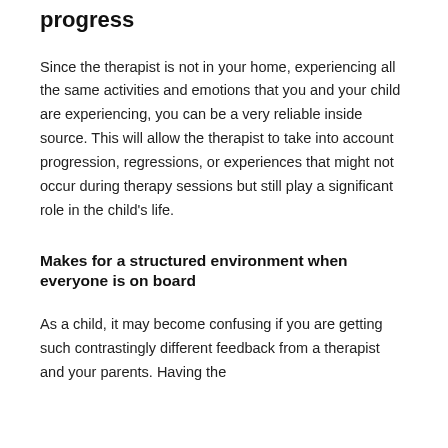progress
Since the therapist is not in your home, experiencing all the same activities and emotions that you and your child are experiencing, you can be a very reliable inside source. This will allow the therapist to take into account progression, regressions, or experiences that might not occur during therapy sessions but still play a significant role in the child's life.
Makes for a structured environment when everyone is on board
As a child, it may become confusing if you are getting such contrastingly different feedback from a therapist and your parents. Having the